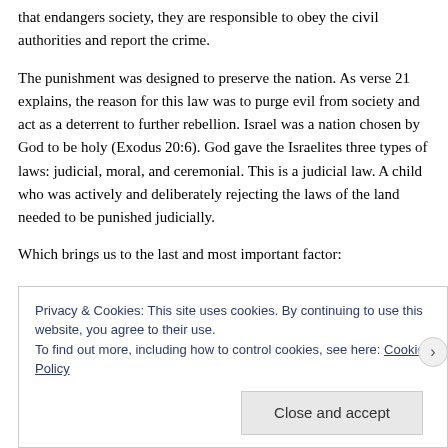that endangers society, they are responsible to obey the civil authorities and report the crime.
The punishment was designed to preserve the nation. As verse 21 explains, the reason for this law was to purge evil from society and act as a deterrent to further rebellion. Israel was a nation chosen by God to be holy (Exodus 20:6). God gave the Israelites three types of laws: judicial, moral, and ceremonial. This is a judicial law. A child who was actively and deliberately rejecting the laws of the land needed to be punished judicially.
Which brings us to the last and most important factor:
Rebellion against one’s parents is direct rebellion against God. The 5th Command is to honor one’s father and
Privacy & Cookies: This site uses cookies. By continuing to use this website, you agree to their use.
To find out more, including how to control cookies, see here: Cookie Policy
Close and accept